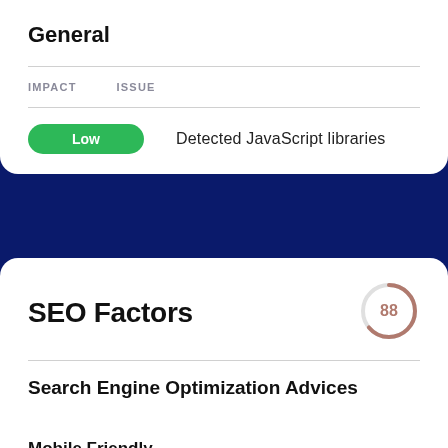General
| IMPACT | ISSUE |
| --- | --- |
| Low | Detected JavaScript libraries |
SEO Factors
[Figure (other): Circular score gauge showing the number 88, rendered as a partial arc in brownish/mauve color]
Search Engine Optimization Advices
Mobile Friendly